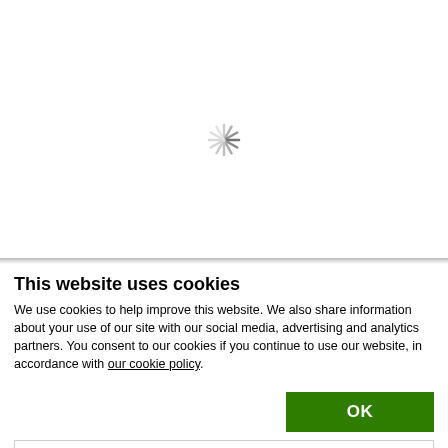[Figure (other): Loading spinner animation — a circular arrangement of short radial lines in light gray, like a clock face, indicating a loading state.]
This website uses cookies
We use cookies to help improve this website. We also share information about your use of our site with our social media, advertising and analytics partners. You consent to our cookies if you continue to use our website, in accordance with our cookie policy.
OK
Necessary   Preferences   Statistics   Marketing